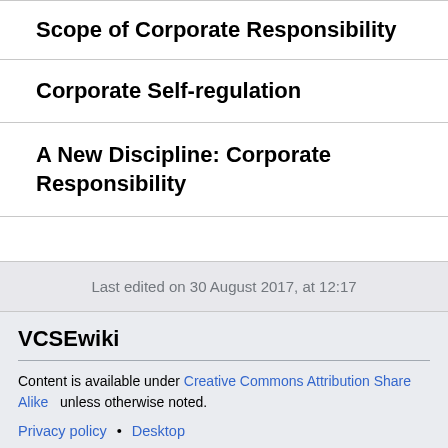Scope of Corporate Responsibility
Corporate Self-regulation
A New Discipline: Corporate Responsibility
Last edited on 30 August 2017, at 12:17
VCSEwiki
Content is available under Creative Commons Attribution Share Alike unless otherwise noted.
Privacy policy • Desktop